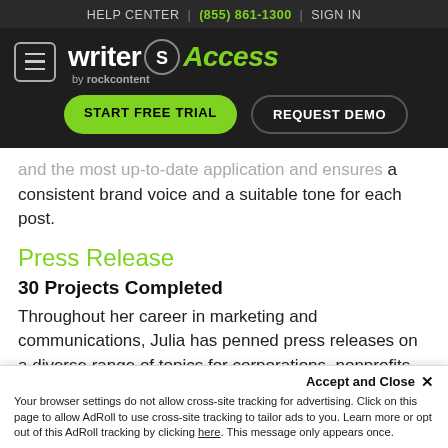HELP CENTER | (855) 861-1300 | SIGN IN
[Figure (logo): WriterAccess by rockcontent logo with hamburger menu, Start Free Trial and Request Demo buttons on dark background]
and the most up-to-date application and ensures a consistent brand voice and a suitable tone for each post.
Press Release
30 Projects Completed
Throughout her career in marketing and communications, Julia has penned press releases on a diverse range of topics for corporations, nonprofits, independent book presses, theaters, family businesses, and many more. She synthesi...
Accept and Close ×
Your browser settings do not allow cross-site tracking for advertising. Click on this page to allow AdRoll to use cross-site tracking to tailor ads to you. Learn more or opt out of this AdRoll tracking by clicking here. This message only appears once.